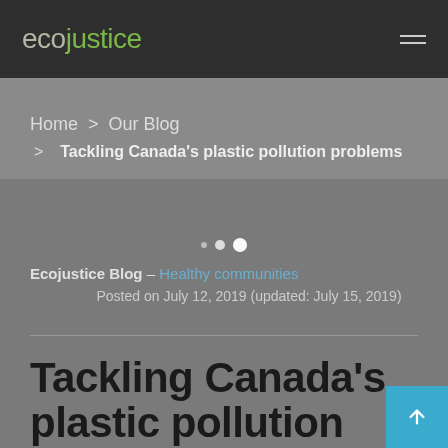ecojustice
Home  >  Our Blog
  >  Tackling Canada's plastic pollution problems
Ecojustice Blog – Healthy communities
Posted on July 12, 2019 (updated: July 15, 2019)
Tackling Canada's plastic pollution problems